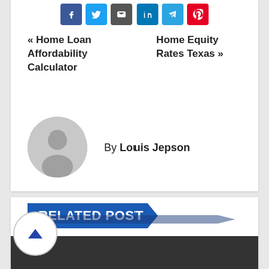[Figure (other): Social share icons row: Facebook, Twitter, Email, LinkedIn, Telegram, Pinterest]
« Home Loan Affordability Calculator
Home Equity Rates Texas »
[Figure (illustration): Default user avatar — grey circle with silhouette]
By Louis Jepson
RELATED POST